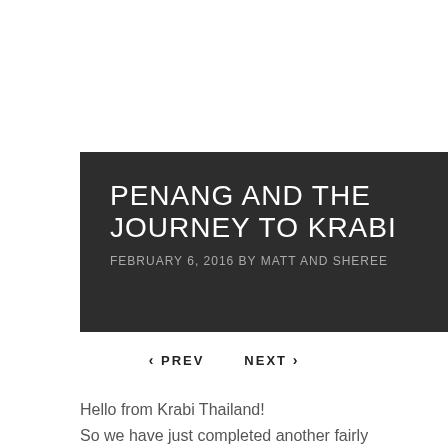PENANG AND THE JOURNEY TO KRABI
FEBRUARY 6, 2016 BY MATT AND SHEREE
< PREV   NEXT >
Hello from Krabi Thailand!
So we have just completed another fairly